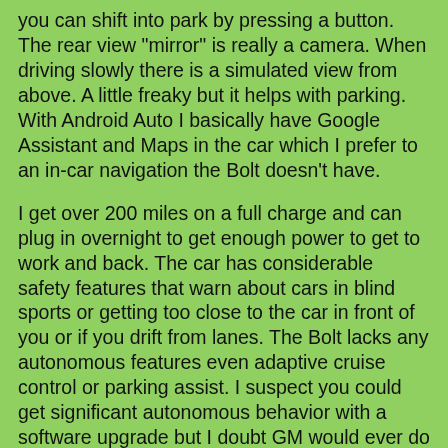you can shift into park by pressing a button. The rear view "mirror" is really a camera. When driving slowly there is a simulated view from above. A little freaky but it helps with parking. With Android Auto I basically have Google Assistant and Maps in the car which I prefer to an in-car navigation the Bolt doesn't have.
I get over 200 miles on a full charge and can plug in overnight to get enough power to get to work and back. The car has considerable safety features that warn about cars in blind sports or getting too close to the car in front of you or if you drift from lanes. The Bolt lacks any autonomous features even adaptive cruise control or parking assist. I suspect you could get significant autonomous behavior with a software upgrade but I doubt GM would ever do so.
The car is missing some basic features like power seats and a garage door button. No problem, I rigged up Google Assistant to open the garage door when I say the magic words. Far cooler than pressing a button.
It's not as sleek looking as a Tesla and nobody will shoot it